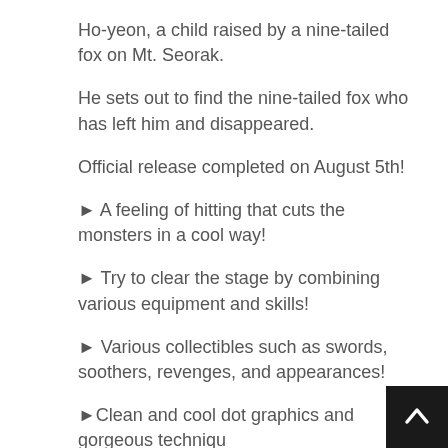Ho-yeon, a child raised by a nine-tailed fox on Mt. Seorak.
He sets out to find the nine-tailed fox who has left him and disappeared.
Official release completed on August 5th!
► A feeling of hitting that cuts the monsters in a cool way!
► Try to clear the stage by combining various equipment and skills!
► Various collectibles such as swords, soothers, revenges, and appearances!
►Clean and cool dot graphics and gorgeous techniqu